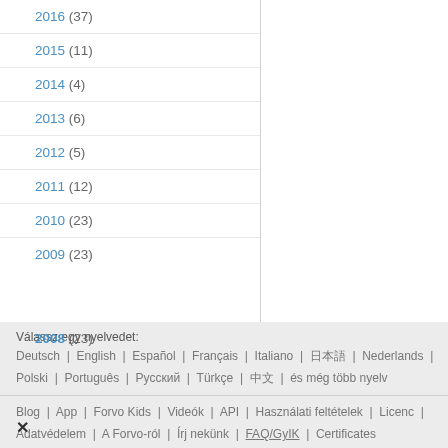2016 (37)
2015 (11)
2014 (4)
2013 (6)
2012 (5)
2011 (12)
2010 (23)
2009 (23)
2008 (23)
Válassz egy nyelvedet:
Deutsch | English | Español | Français | Italiano | 日本語 | Nederlands | Polski | Português | Русский | Türkçe | 中文 | és még több nyelv
Blog | App | Forvo Kids | Videók | API | Használati feltételek | Licenc | Adatvédelem | A Forvo-ról | Írj nekünk | FAQ/GyIK | Certificates